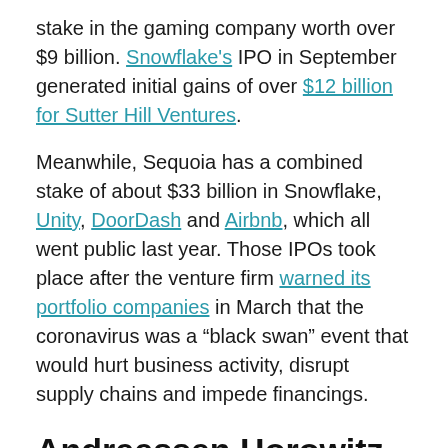stake in the gaming company worth over $9 billion. Snowflake's IPO in September generated initial gains of over $12 billion for Sutter Hill Ventures.
Meanwhile, Sequoia has a combined stake of about $33 billion in Snowflake, Unity, DoorDash and Airbnb, which all went public last year. Those IPOs took place after the venture firm warned its portfolio companies in March that the coronavirus was a “black swan” event that would hurt business activity, disrupt supply chains and impede financings.
Andreessen Horowitz builds the biggest stake
While Union Square led Coinbase's initial funding round, the firm isn't the biggest outside investor. That distinction